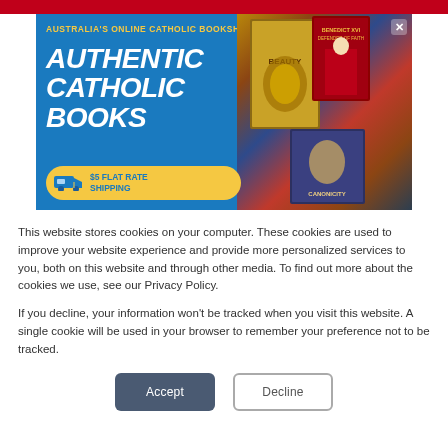[Figure (illustration): Advertisement banner for Australia's Online Catholic Bookshop showing 'Authentic Catholic Books' text in white italic bold font on blue background, with book cover images on the right and a yellow '$5 Flat Rate Shipping' badge with truck icon at the bottom left. A close (X) button appears in the top right corner.]
This website stores cookies on your computer. These cookies are used to improve your website experience and provide more personalized services to you, both on this website and through other media. To find out more about the cookies we use, see our Privacy Policy.
If you decline, your information won't be tracked when you visit this website. A single cookie will be used in your browser to remember your preference not to be tracked.
Accept
Decline